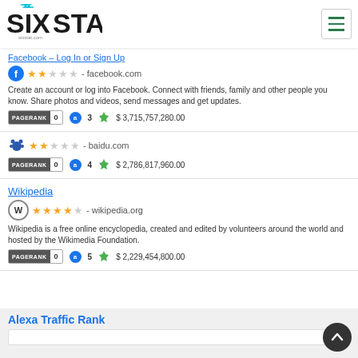SIXSTAT - sixstat.com
Facebook – Log In or Sign Up
★★☆☆☆ - facebook.com
Create an account or log into Facebook. Connect with friends, family and other people you know. Share photos and videos, send messages and get updates.
PAGERANK 0   3   $ 3,715,757,280.00
★★☆☆☆ - baidu.com
PAGERANK 0   4   $ 2,786,817,960.00
Wikipedia
★★★★☆ - wikipedia.org
Wikipedia is a free online encyclopedia, created and edited by volunteers around the world and hosted by the Wikimedia Foundation.
PAGERANK 0   5   $ 2,229,454,800.00
Alexa Traffic Rank